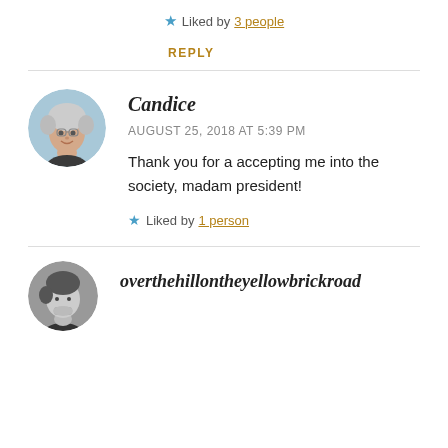★ Liked by 3 people
REPLY
Candice
AUGUST 25, 2018 AT 5:39 PM
Thank you for a accepting me into the society, madam president!
★ Liked by 1 person
overthehillontheyellowbrickroad